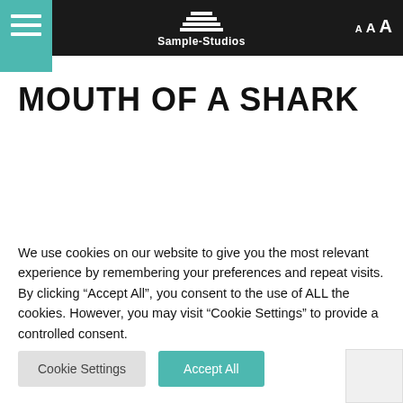Sample-Studios
MOUTH OF A SHARK
[Figure (photo): Blurred newspaper or text image with partially visible words including 'Glasgow face' and 'asylum seeke' overlaid on a muted beige/grey background]
We use cookies on our website to give you the most relevant experience by remembering your preferences and repeat visits. By clicking “Accept All”, you consent to the use of ALL the cookies. However, you may visit “Cookie Settings” to provide a controlled consent.
Cookie Settings   Accept All